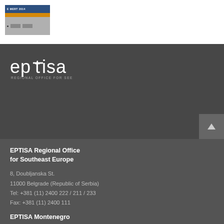[Figure (screenshot): Small thumbnail screenshot of a web page with blue header bar and orange accent bar]
[Figure (logo): EPTISA logo in white on dark grey background with text 'REGIONAL OFFICE FOR SEE' below]
EPTISA Regional Office for Southeast Europe
8, Doubljanska St.
11000 Belgrade (Republic of Serbia)
Tel: +381 (11) 2400 222 / 211 / 233
Fax: +381 (11) 2400 111
EPTISA Montenegro
Bulevar Revolucije 2
81000 Podgorica (Montenegro)
Tel: +382 20 322 299
EPTISA ADRIA d.o.o.
Rapska ulica 4
10000 Zagreb (Republic of Croatia)
Tel: +385 1 5531 501
Fax: +385 1 5531 666